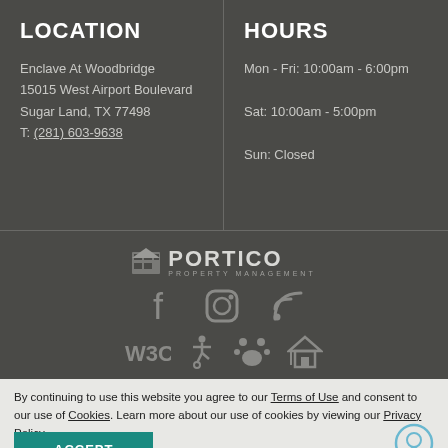LOCATION
Enclave At Woodbridge
15015 West Airport Boulevard
Sugar Land, TX 77498
T: (281) 603-9638
HOURS
Mon - Fri: 10:00am - 6:00pm
Sat: 10:00am - 5:00pm
Sun: Closed
[Figure (logo): Portico Property Management logo with building icon]
[Figure (infographic): Social media icons: Facebook, Instagram, RSS feed]
[Figure (infographic): Accessibility compliance icons: W3C, wheelchair, pets allowed, fair housing]
By continuing to use this website you agree to our Terms of Use and consent to our use of Cookies. Learn more about our use of cookies by viewing our Privacy Policy.
ACCEPT